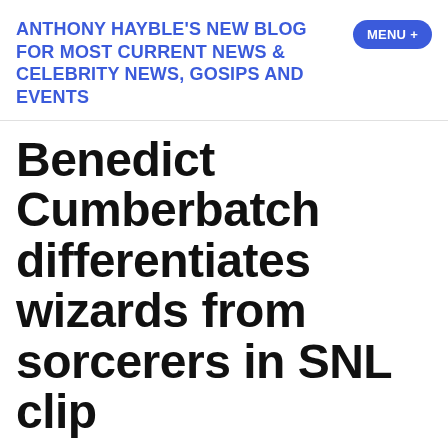ANTHONY HAYBLE'S NEW BLOG FOR MOST CURRENT NEWS & CELEBRITY NEWS, GOSIPS AND EVENTS
Benedict Cumberbatch differentiates wizards from sorcerers in SNL clip
anthonyhayble   May 7, 2022   Uncategorized